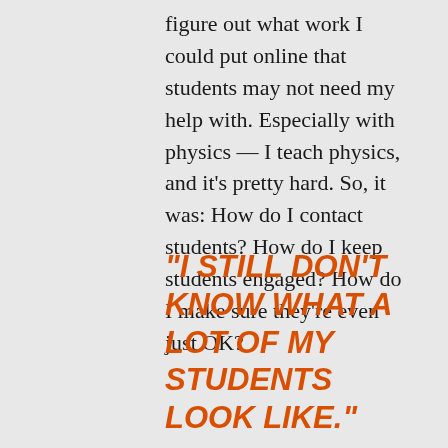figure out what work I could put online that students may not need my help with. Especially with physics — I teach physics, and it's pretty hard. So, it was: How do I contact students? How do I keep students engaged? How do I make sure they're even just OK?
"I STILL DON'T KNOW WHAT A LOT OF MY STUDENTS LOOK LIKE."